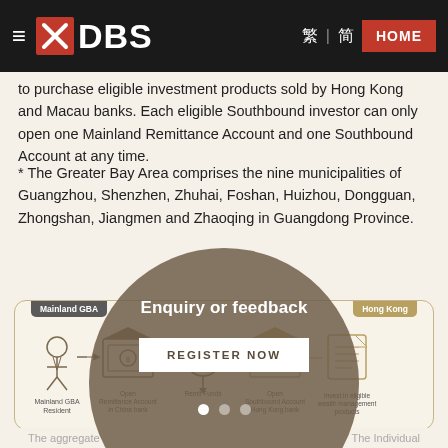≡ ✕DBS  繁 | 简  HOME
to purchase eligible investment products sold by Hong Kong and Macau banks. Each eligible Southbound investor can only open one Mainland Remittance Account and one Southbound Account at any time.
* The Greater Bay Area comprises the nine municipalities of Guangzhou, Shenzhen, Zhuhai, Foshan, Huizhou, Dongguan, Zhongshan, Jiangmen and Zhaoqing in Guangdong Province.
[Figure (infographic): Flow diagram showing: Mainland GBA (left region) — Mainland GBA Resident → Open Remittance Account in China bank → Remit Funds (with CNY coin icon) → Open Southbound Account in Hong Kong bank → Invest in eligible wealth management products. Hong Kong (right region). Overlay modal showing 'Enquiry or feedback' with REGISTER NOW button and dots pagination indicator.]